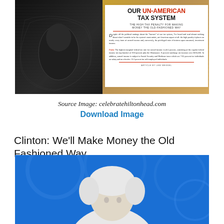[Figure (infographic): Infographic titled 'Our Un-American Tax System: The High Tax Penalty for Making Money the Old-Fashioned Way'. Features a close-up of currency engraving on the left against a dark background and a tan/gold background on the right, with a white box overlay containing the title, subtitle, and body text about earned income tax rates. Article by Lew Wessel.]
Source Image: celebratehiltonhead.com
Download Image
Clinton: We'll Make Money the Old Fashioned Way
[Figure (photo): Photo of a person with white/silver hair against a bright blue background, visible from shoulders up, partially cropped.]